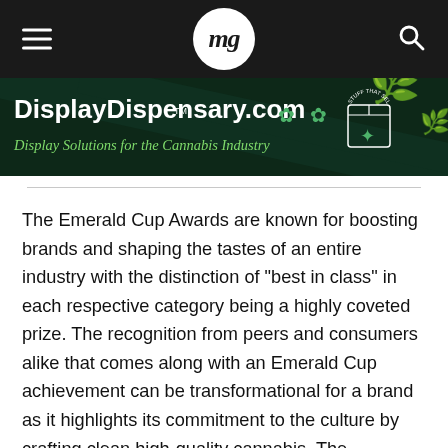mg — hamburger menu, mg logo, search icon
[Figure (illustration): DisplayDispensary.com banner advertisement — dark green background with cannabis leaf icons, a box icon with 'Stuff that sells your stuff' text arc, tagline 'Display Solutions for the Cannabis Industry']
The Emerald Cup Awards are known for boosting brands and shaping the tastes of an entire industry with the distinction of "best in class" in each respective category being a highly coveted prize. The recognition from peers and consumers alike that comes along with an Emerald Cup achievement can be transformational for a brand as it highlights its commitment to the culture by crafting clean high-quality cannabis. The California cannabis market is stronger when united and the 18th Annual Emerald Cup Awards bridged the gap between the NorCal and SoCal markets, providing more opportunities for farmers and brands, as well as new options